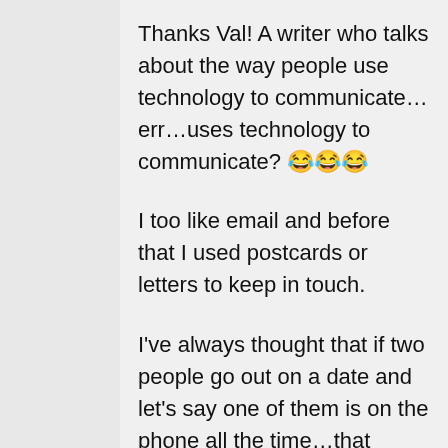Thanks Val! A writer who talks about the way people use technology to communicate…err…uses technology to communicate? 😂😂😂
I too like email and before that I used postcards or letters to keep in touch.
I've always thought that if two people go out on a date and let's say one of them is on the phone all the time…that person is just rude! The phone is just a tool, in the same way people used to read over sized